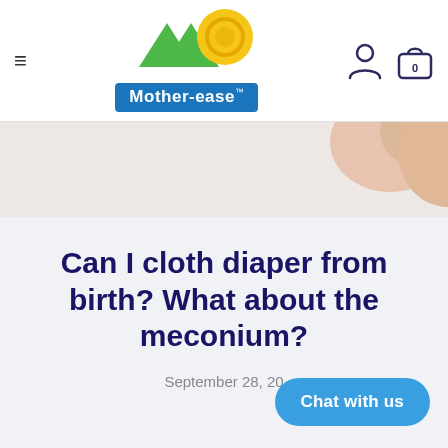Mother-ease navigation bar with hamburger menu, logo, user icon, and cart icon (0 items)
[Figure (photo): Close-up photo of baby skin/hand on white background]
Can I cloth diaper from birth? What about the meconium?
September 28, 20
Chat with us